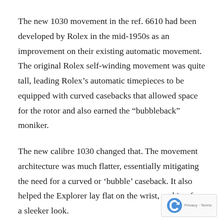The new 1030 movement in the ref. 6610 had been developed by Rolex in the mid-1950s as an improvement on their existing automatic movement. The original Rolex self-winding movement was quite tall, leading Rolex's automatic timepieces to be equipped with curved casebacks that allowed space for the rotor and also earned the “bubbleback” moniker.
The new calibre 1030 changed that. The movement architecture was much flatter, essentially mitigating the need for a curved or ‘bubble’ caseback. It also helped the Explorer lay flat on the wrist, making for a sleeker look.
Modern collectors covet this reference of Explorer as it was the first to feature red font on the dial. The